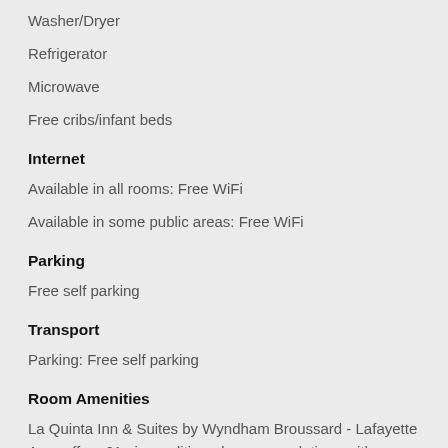Washer/Dryer
Refrigerator
Microwave
Free cribs/infant beds
Internet
Available in all rooms: Free WiFi
Available in some public areas: Free WiFi
Parking
Free self parking
Transport
Parking: Free self parking
Room Amenities
La Quinta Inn & Suites by Wyndham Broussard - Lafayette Area offers 61 air-conditioned accommodations with washers/dryers and complimentary bottled water. Beds feature premium bedding. Flat-screen televisions come with premium cable channels. Guests can make use of the in-room